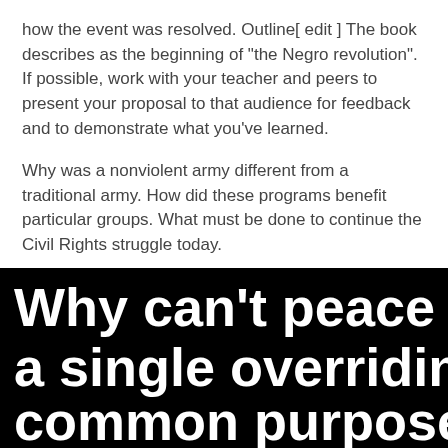how the event was resolved. Outline[ edit ] The book describes as the beginning of "the Negro revolution". If possible, work with your teacher and peers to present your proposal to that audience for feedback and to demonstrate what you've learned.
Why was a nonviolent army different from a traditional army. How did these programs benefit particular groups. What must be done to continue the Civil Rights struggle today.
[Figure (other): Black background image with large white bold text reading: 'Why can't peace be a single overriding common purpose: why do we wait for']